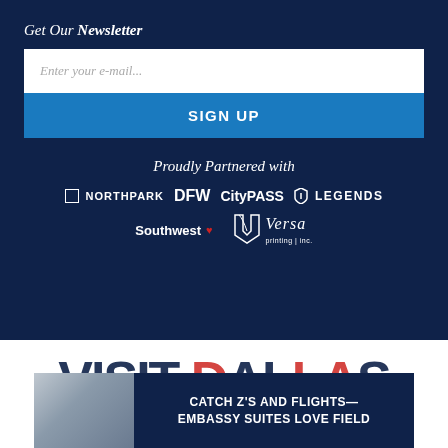Get Our Newsletter
Enter your e-mail...
SIGN UP
Proudly Partnered with
[Figure (logo): Partner logos: NORTHPARK, DFW, CityPASS, LEGENDS, Southwest, Versa printing inc.]
[Figure (infographic): Advertisement banner: photo of hotel lobby with text CATCH Z'S AND FLIGHTS— EMBASSY SUITES LOVE FIELD on dark blue background, overlaid on Visit Dallas text]